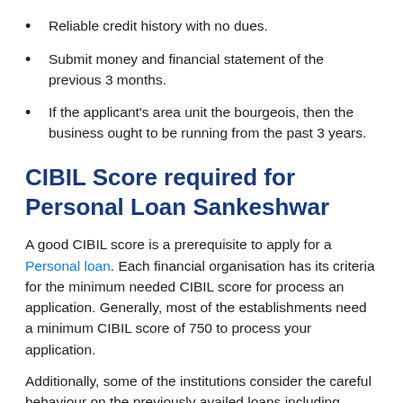Reliable credit history with no dues.
Submit money and financial statement of the previous 3 months.
If the applicant's area unit the bourgeois, then the business ought to be running from the past 3 years.
CIBIL Score required for Personal Loan Sankeshwar
A good CIBIL score is a prerequisite to apply for a Personal loan. Each financial organisation has its criteria for the minimum needed CIBIL score for process an application. Generally, most of the establishments need a minimum CIBIL score of 750 to process your application.
Additionally, some of the institutions consider the careful behaviour on the previously availed loans including details on the